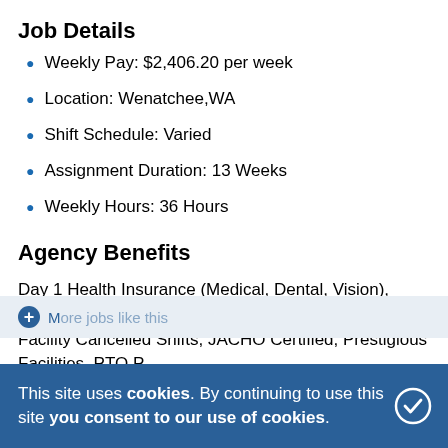Job Details
Weekly Pay: $2,406.20 per week
Location: Wenatchee,WA
Shift Schedule: Varied
Assignment Duration: 13 Weeks
Weekly Hours: 36 Hours
Agency Benefits
Day 1 Health Insurance (Medical, Dental, Vision), Flexible Housing Options, Guaranteed Stipend: Facility Cancelled Shifts, JACHO Certified, Prestigious Facilities, PTO Program, Weekly Pay, Paid Compliance Cost, Referral bonuses, and more. Bold consent to use Main
This site uses cookies. By continuing to use this site you consent to our use of cookies.
More jobs like this